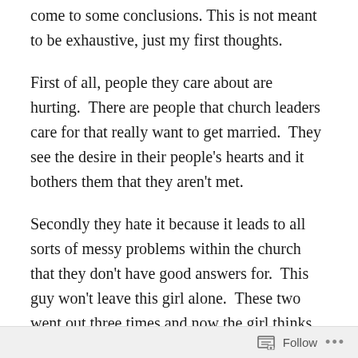I've been thinking about why they feel that way, and I've come to some conclusions. This is not meant to be exhaustive, just my first thoughts.
First of all, people they care about are hurting. There are people that church leaders care for that really want to get married. They see the desire in their people's hearts and it bothers them that they aren't met.
Secondly they hate it because it leads to all sorts of messy problems within the church that they don't have good answers for. This guy won't leave this girl alone. These two went out three times and now the girl thinks because it didn't work out that the guy is a player out to do harm. A single man has the qualities to be an elder, but what if he dates someone in the church, what if it doesn't work out?
Follow